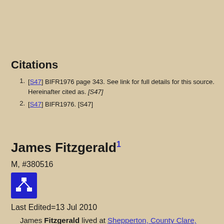Citations
[S47] BIFR1976 page 343. See link for full details for this source. Hereinafter cited as. [S47]
[S47] BIFR1976. [S47]
James Fitzgerald1
M, #380516
[Figure (other): Blue icon with network/hierarchy symbol]
Last Edited=13 Jul 2010
James Fitzgerald lived at Shepperton, County Clare, Ireland.1